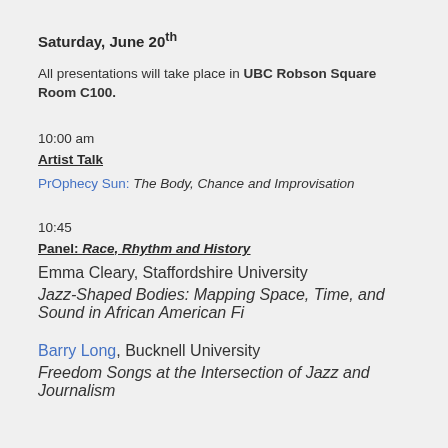Saturday, June 20th
All presentations will take place in UBC Robson Square Room C100.
10:00 am
Artist Talk
PrOphecy Sun: The Body, Chance and Improvisation
10:45
Panel: Race, Rhythm and History
Emma Cleary, Staffordshire University
Jazz-Shaped Bodies: Mapping Space, Time, and Sound in African American Fi
Barry Long, Bucknell University
Freedom Songs at the Intersection of Jazz and Journalism